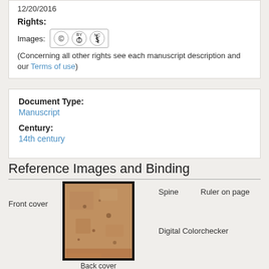12/20/2016
Rights:
Images: [CC BY-NC badge]
(Concerning all other rights see each manuscript description and our Terms of use)
Document Type:
Manuscript
Century:
14th century
Reference Images and Binding
Front cover
[Figure (photo): Front cover of an old manuscript book, tan/brown parchment cover with aged texture and dark spots]
Back cover
Spine
Ruler on page
Digital Colorchecker